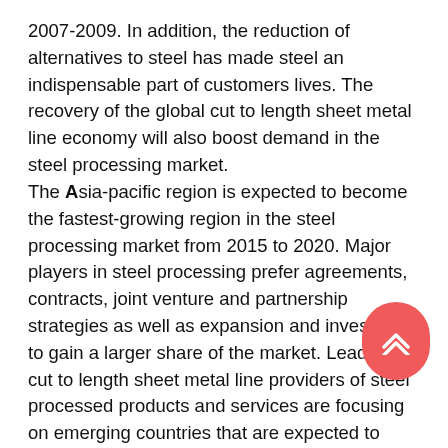2007-2009. In addition, the reduction of alternatives to steel has made steel an indispensable part of customers lives. The recovery of the global cut to length sheet metal line economy will also boost demand in the steel processing market.
The Asia-pacific region is expected to become the fastest-growing region in the steel processing market from 2015 to 2020. Major players in steel processing prefer agreements, contracts, joint venture and partnership strategies as well as expansion and investment to gain a larger share of the market. Leading cut to length sheet metal line providers of steel processed products and services are focusing on emerging countries that are expected to show potential for industrial development in the near future.
Metal and Steel Processing Industry - Future planning the cut to length sheet metal line
The steel processing market is a highly fragmented one